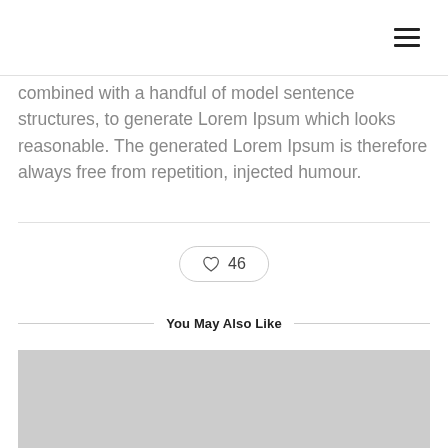[Figure (other): Hamburger menu icon (three horizontal lines) in top-right corner]
combined with a handful of model sentence structures, to generate Lorem Ipsum which looks reasonable. The generated Lorem Ipsum is therefore always free from repetition, injected humour.
[Figure (other): Like button with heart icon showing count of 46]
You May Also Like
[Figure (photo): Gray placeholder image at the bottom of the page]